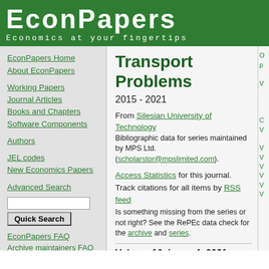EconPapers
Economics at your fingertips
EconPapers Home
About EconPapers
Working Papers
Journal Articles
Books and Chapters
Software Components
Authors
JEL codes
New Economics Papers
Advanced Search
EconPapers FAQ
Archive maintainers FAQ
Cookies at EconPapers
The RePEc blog
The RePEc plagiarism page
Transport Problems
2015 - 2021
From Silesian University of Technology
Bibliographic data for series maintained by MPS Ltd. (scholarstor@mpslimited.com).
Access Statistics for this journal. Track citations for all items by RSS feed
Is something missing from the series or not right? See the RePEc data check for the archive and series.
Volume 16, issue 4, 2021
CAPACITY UTILIZATION